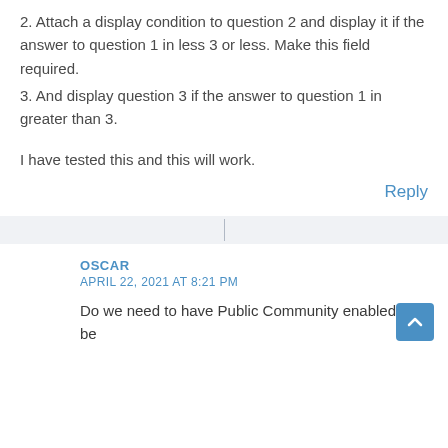2. Attach a display condition to question 2 and display it if the answer to question 1 in less 3 or less. Make this field required.
3. And display question 3 if the answer to question 1 in greater than 3.
I have tested this and this will work.
Reply
OSCAR
APRIL 22, 2021 AT 8:21 PM
Do we need to have Public Community enabled to be